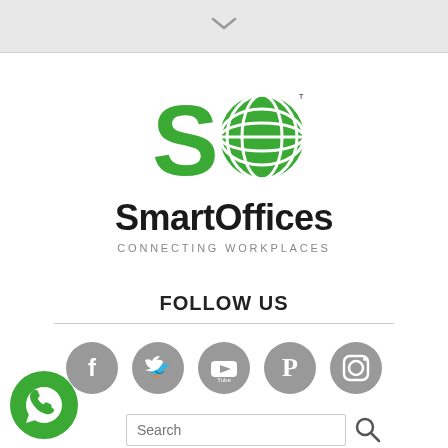[Figure (other): Chevron/down arrow icon in top grey bar]
[Figure (logo): SmartOffices logo: green S letter and globe icon with TM mark]
SmartOffices
CONNECTING WORKPLACES
FOLLOW US
[Figure (infographic): Five grey circular social media icons: Facebook, Twitter, YouTube, Pinterest, Instagram]
[Figure (other): Search input box with search icon and WhatsApp floating button]
[Figure (logo): WhatsApp green circle button with phone icon, bottom left corner]